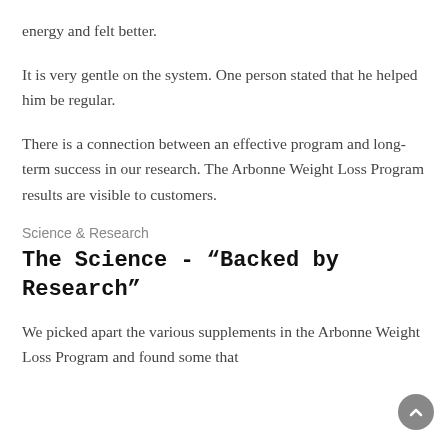energy and felt better.
It is very gentle on the system. One person stated that he helped him be regular.
There is a connection between an effective program and long-term success in our research. The Arbonne Weight Loss Program results are visible to customers.
Science & Research
The Science - “Backed by Research”
We picked apart the various supplements in the Arbonne Weight Loss Program and found some that